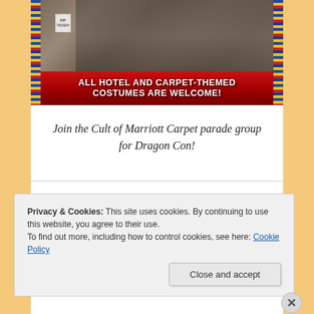[Figure (photo): Group photo of people in Halloween/costume attire at what appears to be an event. A gravestone prop reads 'RIP TRASHY'. A red banner at the bottom reads 'ALL HOTEL AND CARPET-THEMED COSTUMES ARE WELCOME!' with decorative patterned borders on the sides.]
Join the Cult of Marriott Carpet parade group for Dragon Con!
Privacy & Cookies: This site uses cookies. By continuing to use this website, you agree to their use.
To find out more, including how to control cookies, see here: Cookie Policy